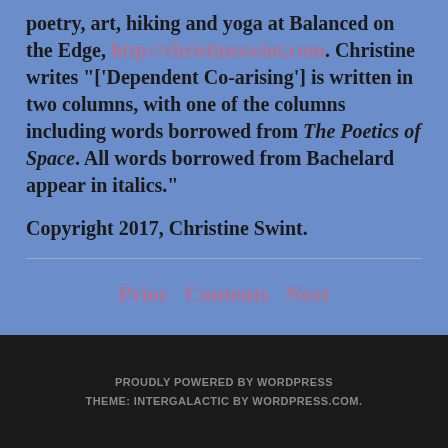poetry, art, hiking and yoga at Balanced on the Edge, http://christineswint.com. Christine writes "['Dependent Co-arising'] is written in two columns, with one of the columns including words borrowed from The Poetics of Space. All words borrowed from Bachelard appear in italics."
Copyright 2017, Christine Swint.
Prior Contents Next
PROUDLY POWERED BY WORDPRESS THEME: INTERGALACTIC BY WORDPRESS.COM.